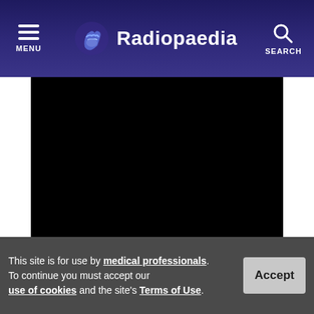MENU | Radiopaedia | SEARCH
[Figure (photo): Black medical imaging viewer panel (radiology image viewer with dark background)]
This site is for use by medical professionals. To continue you must accept our use of cookies and the site's Terms of Use.